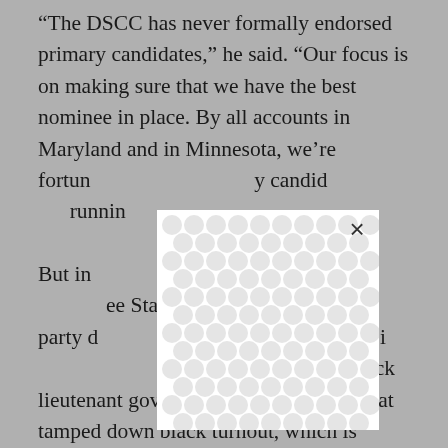“The DSCC has never formally endorsed primary candidates,” he said. “Our focus is on making sure that we have the best nominee in place. By all accounts in Maryland and in Minnesota, we’re fortunate to have quality candidates running… But in … the party … State … party … statewide ticket in 2002, Republicans were electing a black lieutenant governor, Michael Steele. That tamped down black turnout, which is critical to Democratic fortunes in close statewide
[Figure (other): A white modal/popup overlay with a decorative pattern of interlocking circular shapes in light gray on white background. An X close button is visible in the upper right of the overlay.]